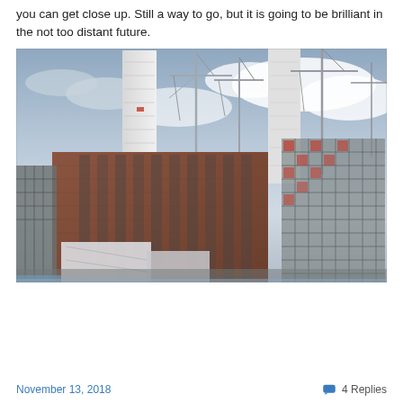you can get close up. Still a way to go, but it is going to be brilliant in the not too distant future.
[Figure (photo): Photograph of Battersea Power Station under construction/renovation, showing iconic white chimneys and construction cranes against a cloudy blue sky, with scaffolding visible on surrounding new buildings.]
November 13, 2018   4 Replies